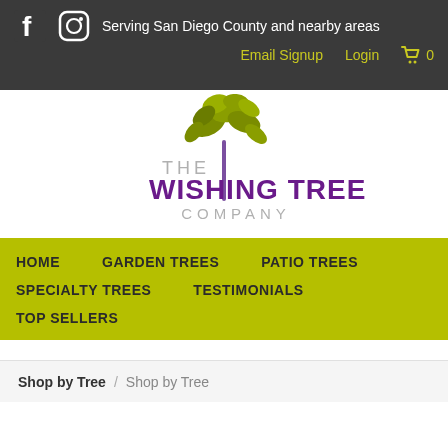Serving San Diego County and nearby areas | Email Signup | Login | 0
[Figure (logo): The Wishing Tree Company logo with olive/green tree illustration above purple and gray text]
HOME
GARDEN TREES
PATIO TREES
SPECIALTY TREES
TESTIMONIALS
TOP SELLERS
Shop by Tree / Shop by Tree